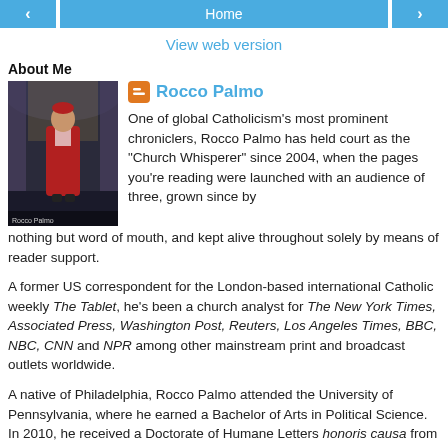< Home >
View web version
About Me
[Figure (photo): Photo of a person in red robes in a grand architectural setting]
Rocco Palmo
One of global Catholicism's most prominent chroniclers, Rocco Palmo has held court as the "Church Whisperer" since 2004, when the pages you're reading were launched with an audience of three, grown since by nothing but word of mouth, and kept alive throughout solely by means of reader support.
A former US correspondent for the London-based international Catholic weekly The Tablet, he's been a church analyst for The New York Times, Associated Press, Washington Post, Reuters, Los Angeles Times, BBC, NBC, CNN and NPR among other mainstream print and broadcast outlets worldwide.
A native of Philadelphia, Rocco Palmo attended the University of Pennsylvania, where he earned a Bachelor of Arts in Political Science. In 2010, he received a Doctorate of Humane Letters honoris causa from Aquinas Institute of Theology in St Louis...